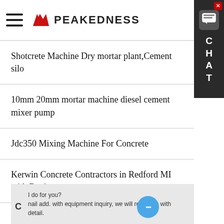PEAKEDNESS
Shotcrete Machine Dry mortar plant,Cement silo
10mm 20mm mortar machine diesel cement mixer pump
Jdc350 Mixing Machine For Concrete
Kerwin Concrete Contractors in Redford MI with Reviews
Concrete Factory For Sale compact batch cement stations
I do for you?
nail add. with equipment inquiry, we will reply you with detail.